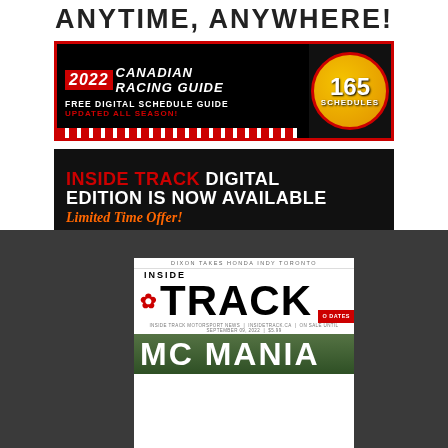ANYTIME, ANYWHERE!
[Figure (infographic): 2022 Canadian Racing Guide banner — Free Digital Schedule Guide, Updated All Season! 165 Schedules badge]
[Figure (infographic): Inside Track Digital Edition Is Now Available — Limited Time Offer! banner on black background]
[Figure (infographic): Inside Track magazine cover — Dixon Takes Honda Indy Toronto, MC Mania feature, on dark grey background]